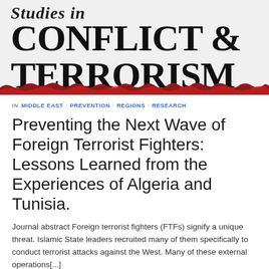[Figure (logo): Studies in Conflict & Terrorism journal banner with large bold serif title text and red/dark decorative bottom edge]
IN MIDDLE EAST · PREVENTION · REGIONS · RESEARCH
Preventing the Next Wave of Foreign Terrorist Fighters: Lessons Learned from the Experiences of Algeria and Tunisia.
Journal abstract Foreign terrorist fighters (FTFs) signify a unique threat. Islamic State leaders recruited many of them specifically to conduct terrorist attacks against the West. Many of these external operations[...]
Read more